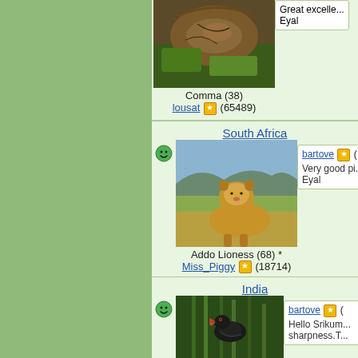[Figure (photo): Comma butterfly on dried leaves and green foliage]
Comma (38)
lousat ★ (65489)
Great excelle...
Eyal
South Africa
[Figure (photo): Addo Lioness sitting in grassland, South Africa]
Addo Lioness (68) *
Miss_Piggy ★ (18714)
bartove ★ (
Very good pi...
Eyal
India
[Figure (photo): Dark bird with open beak perched on green stems, India]
bartove ★ (
Hello Srikum...
sharpness.T...